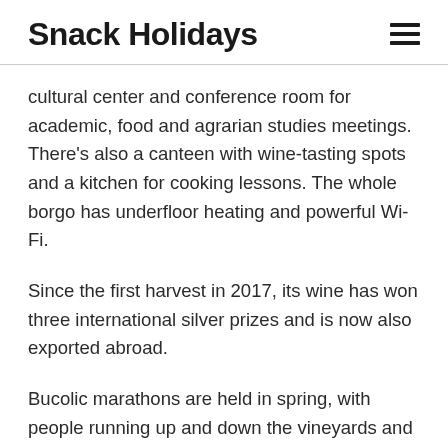Snack Holidays
cultural center and conference room for academic, food and agrarian studies meetings. There’s also a canteen with wine-tasting spots and a kitchen for cooking lessons. The whole borgo has underfloor heating and powerful Wi-Fi.
Since the first harvest in 2017, its wine has won three international silver prizes and is now also exported abroad.
Bucolic marathons are held in spring, with people running up and down the vineyards and then relaxing at the little piazza where villagers once met to chat in the evenings after working in the fields.
A “social orchard” with fresh produce has been created,